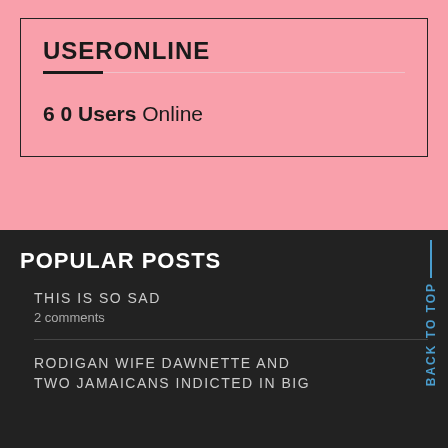USERONLINE
60 Users Online
POPULAR POSTS
THIS IS SO SAD
2 comments
RODIGAN WIFE DAWNETTE AND TWO JAMAICANS INDICTED IN BIG